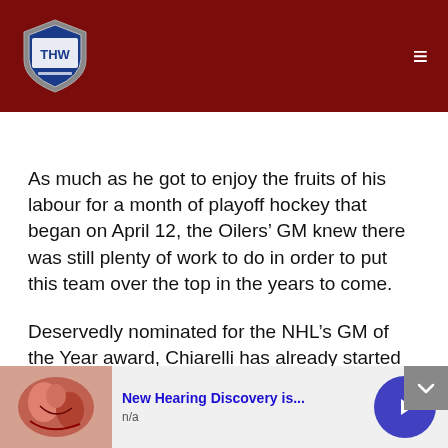THW (The Hockey Writers) site header with logo and hamburger menu
As much as he got to enjoy the fruits of his labour for a month of playoff hockey that began on April 12, the Oilers’ GM knew there was still plenty of work to do in order to put this team over the top in the years to come.
Deservedly nominated for the NHL’s GM of the Year award, Chiarelli has already started some internal housekeeping, such as inking Iiro Pakarinen to a one-year contract extension over
[Figure (other): Advertisement banner: New Hearing Discovery is... n/a, with anatomical image and play button]